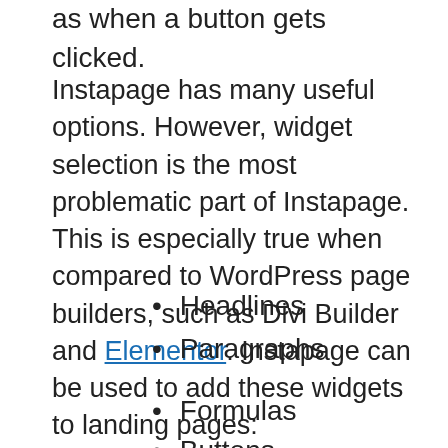as when a button gets clicked.
Instapage has many useful options. However, widget selection is the most problematic part of Instapage. This is especially true when compared to WordPress page builders, such as Divi Builder and Elementor. Instapage can be used to add these widgets to landing pages:
Headlines
Paragraphs
Formulas
Buttons